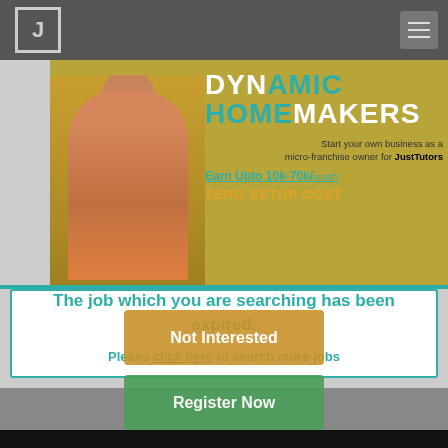JustTutors navigation bar with logo and hamburger menu
[Figure (infographic): Dynamic Homemakers advertisement banner - woman in orange dress, yellow/gold background, text: DYNAMIC HOMEMAKERS, Start your own business as a micro-franchise owner for JustTutors, Earn Upto 10k-70k/month, ZERO SETUP COST]
The job which you are searching has been expired.
Please click here to search more jobs
[Figure (infographic): Not Interested button (gold/orange)]
[Figure (infographic): Register Now button (green)]